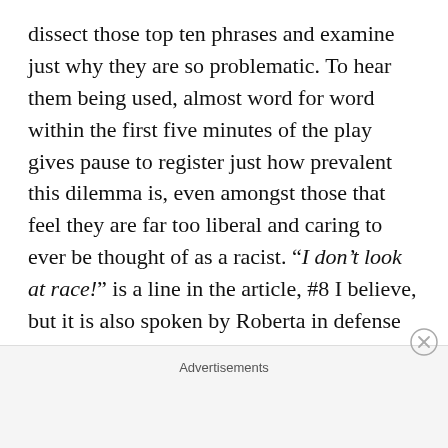dissect those top ten phrases and examine just why they are so problematic. To hear them being used, almost word for word within the first five minutes of the play gives pause to register just how prevalent this dilemma is, even amongst those that feel they are far too liberal and caring to ever be thought of as a racist. “I don’t look at race!” is a line in the article, #8 I believe, but it is also spoken by Roberta in defense of herself within that first telling scene. Here, in Admissions is that exact quagmire, where each
Advertisements